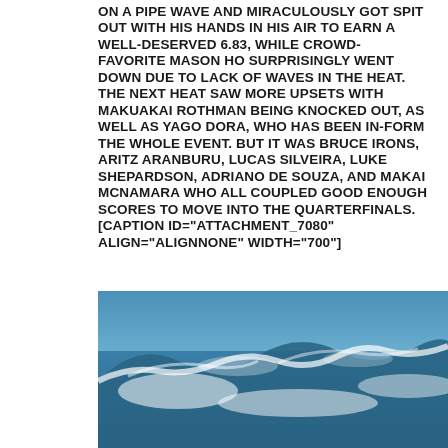ON A PIPE WAVE AND MIRACULOUSLY GOT SPIT OUT WITH HIS HANDS IN HIS AIR TO EARN A WELL-DESERVED 6.83, WHILE CROWD-FAVORITE MASON HO SURPRISINGLY WENT DOWN DUE TO LACK OF WAVES IN THE HEAT. THE NEXT HEAT SAW MORE UPSETS WITH MAKUAKAI ROTHMAN BEING KNOCKED OUT, AS WELL AS YAGO DORA, WHO HAS BEEN IN-FORM THE WHOLE EVENT. BUT IT WAS BRUCE IRONS, ARITZ ARANBURU, LUCAS SILVEIRA, LUKE SHEPARDSON, ADRIANO DE SOUZA, AND MAKAI MCNAMARA WHO ALL COUPLED GOOD ENOUGH SCORES TO MOVE INTO THE QUARTERFINALS. [CAPTION ID="ATTACHMENT_7080" ALIGN="ALIGNNONE" WIDTH="700"]
[Figure (photo): Ocean wave photo showing blue water with white foam/spray, taken from a low angle. The image appears to be of surfing waves at Pipeline or a similar big wave surf spot.]